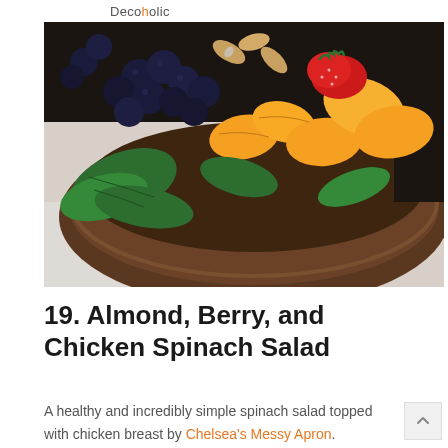Decoholic
[Figure (photo): A wooden bowl filled with fresh spinach leaves, blueberries, strawberries, mandarin orange segments, and almonds, photographed from above on a light surface.]
19. Almond, Berry, and Chicken Spinach Salad
A healthy and incredibly simple spinach salad topped with chicken breast by Chelsea's Messy Apron.